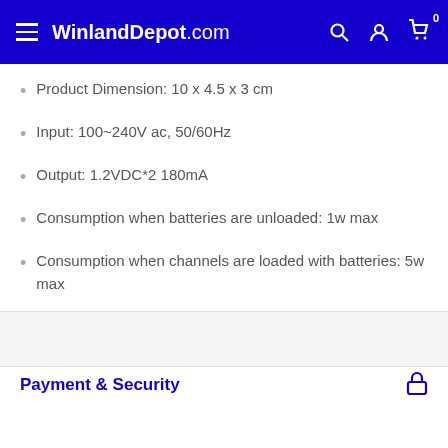WinlandDepot.com
Product Dimension: 10 x 4.5 x 3 cm
Input: 100~240V ac, 50/60Hz
Output: 1.2VDC*2 180mA
Consumption when batteries are unloaded: 1w max
Consumption when channels are loaded with batteries: 5w max
Payment & Security